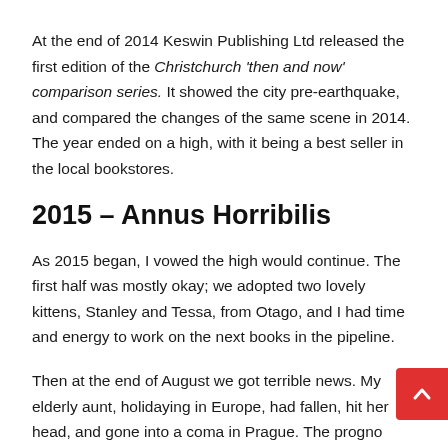At the end of 2014 Keswin Publishing Ltd released the first edition of the Christchurch 'then and now' comparison series. It showed the city pre-earthquake, and compared the changes of the same scene in 2014. The year ended on a high, with it being a best seller in the local bookstores.
2015 – Annus Horribilis
As 2015 began, I vowed the high would continue. The first half was mostly okay; we adopted two lovely kittens, Stanley and Tessa, from Otago, and I had time and energy to work on the next books in the pipeline.
Then at the end of August we got terrible news. My elderly aunt, holidaying in Europe, had fallen, hit her head, and gone into a coma in Prague. The prognosis was bad. Some of my family flew to Prague to support her, and the whole situation was truly dreadful.